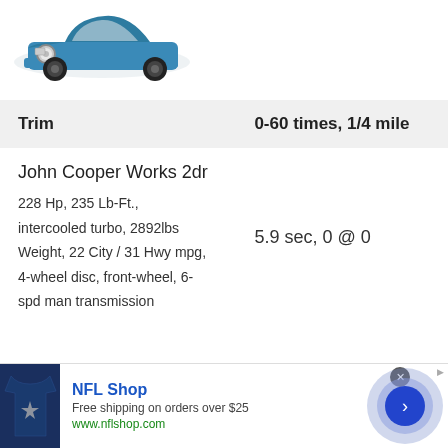[Figure (photo): Blue MINI Cooper 2-door hatchback car shown from front-left angle]
| Trim | 0-60 times, 1/4 mile |
| --- | --- |
| John Cooper Works 2dr
228 Hp, 235 Lb-Ft., intercooled turbo, 2892lbs Weight, 22 City / 31 Hwy mpg, 4-wheel disc, front-wheel, 6-spd man transmission | 5.9 sec, 0 @ 0 |
[Figure (photo): NFL Shop advertisement showing a Dallas Cowboys jersey, text 'NFL Shop', 'Free shipping on orders over $25', 'www.nflshop.com', and a blue circular arrow button]